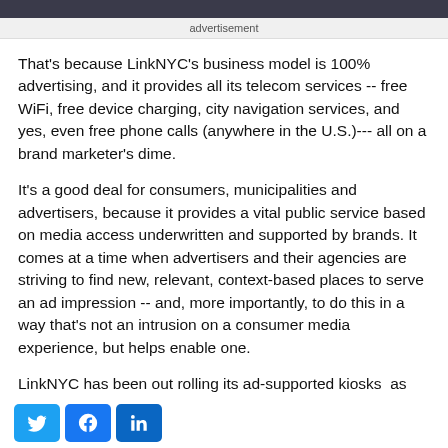advertisement
That's because LinkNYC's business model is 100% advertising, and it provides all its telecom services -- free WiFi, free device charging, city navigation services, and yes, even free phone calls (anywhere in the U.S.)--- all on a brand marketer's dime.
It's a good deal for consumers, municipalities and advertisers, because it provides a vital public service based on media access underwritten and supported by brands. It comes at a time when advertisers and their agencies are striving to find new, relevant, context-based places to serve an ad impression -- and, more importantly, to do this in a way that's not an intrusion on a consumer media experience, but helps enable one.
LinkNYC has been out rolling its ad-supported kiosks as part of of a service provided by CityBridge, whose members... ion and ZenFi Networks, under a